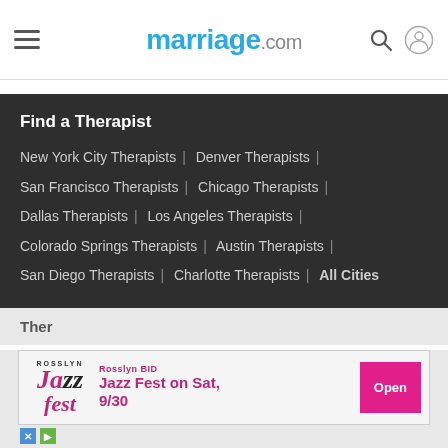marriage.com
Find a Therapist
New York City Therapists | Denver Therapists |
San Francisco Therapists | Chicago Therapists |
Dallas Therapists | Los Angeles Therapists |
Colorado Springs Therapists | Austin Therapists |
San Diego Therapists | Charlotte Therapists | All Cities
Ther
[Figure (infographic): Rosslyn BID advertisement banner for Rosslyn Jazz Fest on Sat, 9/30 with an Open button]